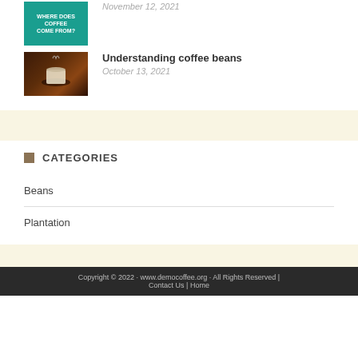[Figure (photo): Thumbnail image with teal background and text 'WHERE DOES COFFEE COME FROM?']
November 12, 2021
[Figure (photo): Thumbnail showing a steaming cup of coffee with coffee beans]
Understanding coffee beans
October 13, 2021
CATEGORIES
Beans
Plantation
Copyright © 2022 · www.democoffee.org · All Rights Reserved | Contact Us | Home